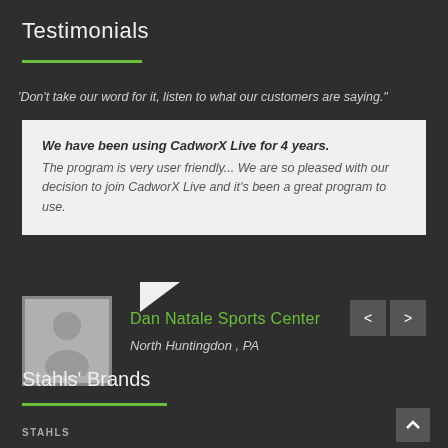Testimonials
'Don't take our word for it, listen to what our customers are saying."
We have been using CadworX Live for 4 years. The program is very user friendly... We are so pleased with our decision to join CadworX Live and it's been a great program to use.
Dan Natale Sports Center
North Huntingdon , PA
Stahls' Brands
STAHLS